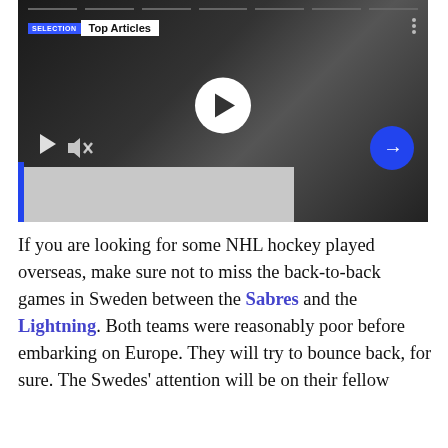[Figure (screenshot): Video player screenshot showing a hockey player in a white tank top against a dark background, with a play button overlay, mute icon, small play button, arrow navigation button, and 'Top Articles' badge in the top left corner.]
If you are looking for some NHL hockey played overseas, make sure not to miss the back-to-back games in Sweden between the Sabres and the Lightning. Both teams were reasonably poor before embarking on Europe. They will try to bounce back, for sure. The Swedes' attention will be on their fellow